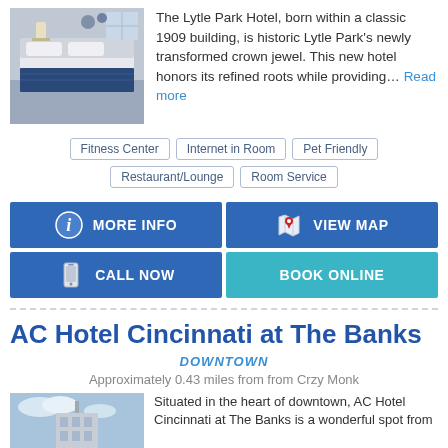[Figure (photo): Hotel room interior with beds and patterned carpet]
The Lytle Park Hotel, born within a classic 1909 building, is historic Lytle Park's newly transformed crown jewel. This new hotel honors its refined roots while providing… Read more
Fitness Center
Internet in Room
Pet Friendly
Restaurant/Lounge
Room Service
MORE INFO
VIEW MAP
CALL NOW
BOOK ONLINE
AC Hotel Cincinnati at The Banks
DOWNTOWN
Approximately 0.43 miles from from Crzy Monk
[Figure (photo): Exterior of AC Hotel Cincinnati at The Banks]
Situated in the heart of downtown, AC Hotel Cincinnati at The Banks is a wonderful spot from